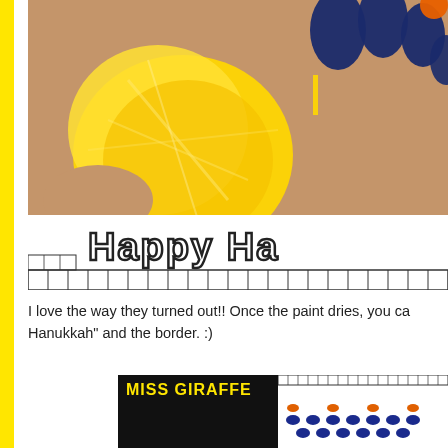[Figure (photo): Close-up photo of a hand covered in yellow paint pressed onto a paper that reads 'Happy Ha...' (Happy Hanukkah) with a grid border. Fingertips visible with blue and orange paint.]
I love the way they turned out!! Once the paint dries, you ca... Hanukkah" and the border. :)
[Figure (photo): Bottom portion showing a black background with 'MISS GIRAFFE' text in yellow, and a white paper with blue and orange fingerprint dots arranged in a menorah pattern.]